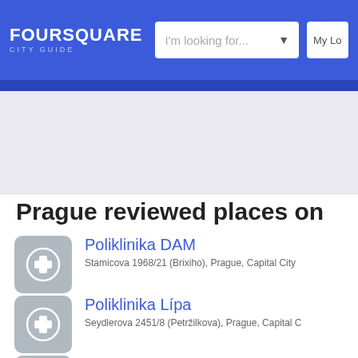FOURSQUARE CITY GUIDE — I'm looking for... — My Lo...
Prague reviewed places on
Poliklinika DAM
Stamicova 1968/21 (Brixiho), Prague, Capital City
Poliklinika Lípa
Seydlerova 2451/8 (Petržilkova), Prague, Capital C...
Poliklinika Malešice
Plaňanská 573/1, Prague, Capital City of Prague 1...